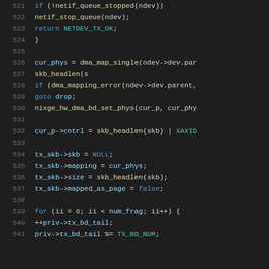521-541: C source code listing showing network driver code with syntax highlighting, including conditional checks, DMA mapping, buffer descriptor setup, and a for loop.